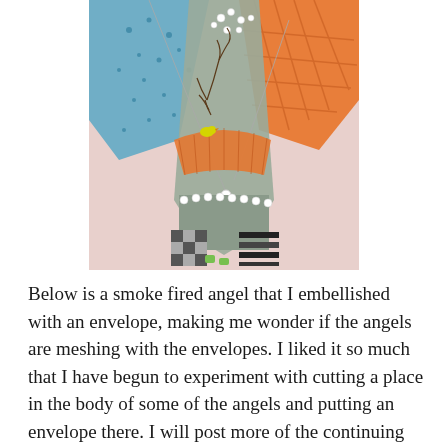[Figure (photo): A ceramic or mixed-media angel sculpture with colorful embellishments including blue textured fabric, orange netting, gray body with white pearl dots, small bird, and checkered base, displayed against a pink/white background.]
Below is a smoke fired angel that I embellished with an envelope, making me wonder if the angels are meshing with the envelopes. I liked it so much that I have begun to experiment with cutting a place in the body of some of the angels and putting an envelope there. I will post more of the continuing playful series of